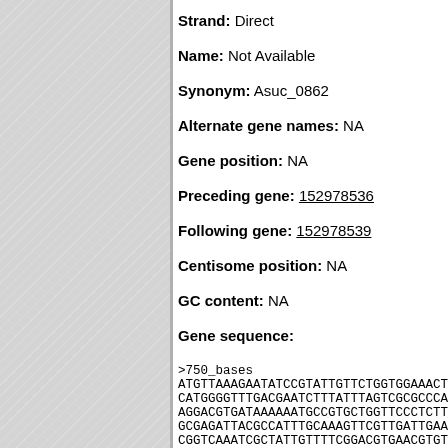Strand: Direct
Name: Not Available
Synonym: Asuc_0862
Alternate gene names: NA
Gene position: NA
Preceding gene: 152978536
Following gene: 152978539
Centisome position: NA
GC content: NA
Gene sequence:
>750_bases
ATGTTAAAGAATATCCGTATTGTTCTGGTGGAAACTTCGCATTCCG
CATGGGGTTGACGAATCTTTATTTAGTCGCGCCCAAATCTCGGATT
AGGACGTGATAAAAATGCCGTGCTGGTTCCCTCTTTTGACGAAGC
GCGAGATTACGCCATTTGCAAGTTCGTTGATTGAACCGCGCGAAT
CGGTCAAATCGCTATTGTTTTCGGACGTGAACGTGTCGGTTTAACCA
ATATTCCCGCCAATCCCGATTATTCTTCTTTAAATTTGGCGATGG